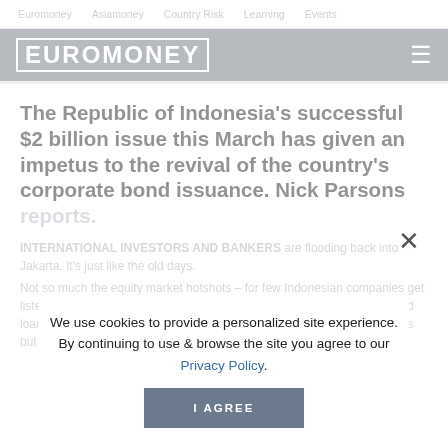Euromoney   Asiamoney   Country Risk   Learning   Events
[Figure (logo): Euromoney logo in white text on dark grey background header bar with hamburger menu icon]
The Republic of Indonesia’s successful $2 billion issue this March has given an impetus to the revival of the country’s corporate bond issuance. Nick Parsons reports.
INTERNATIONAL INVESTORS AND BANKERS are flooding back into Jakarta. It’s just like the old days.
Not so much the equity market hotshots – for few Indonesian companies get listed these days or do convertible bonds. And certainly not the syndicated loan bankers who used to finance a huge market before the 1997/98 crisis but are reluctant to lose their money
We use cookies to provide a personalized site experience.
By continuing to use & browse the site you agree to our Privacy Policy.
I AGREE